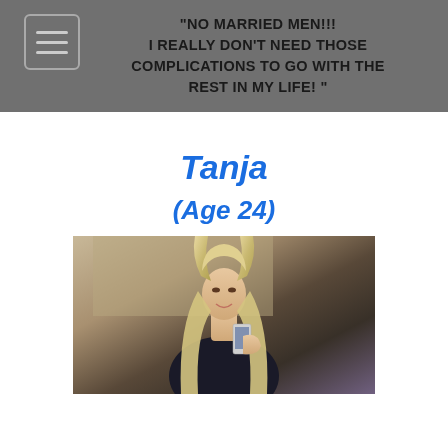"NO MARRIED MEN!!! I REALLY DON'T NEED THOSE COMPLICATIONS TO GO WITH THE REST IN MY LIFE! "
Tanja
(Age 24)
[Figure (photo): Young blonde woman taking a mirror selfie with a smartphone, wearing a dark top, long straight blonde hair, smiling]